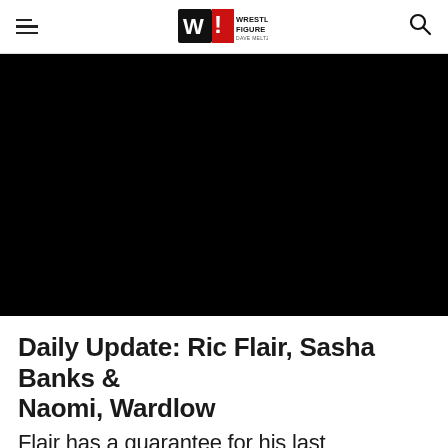Wrestling Observer Figure Four Online — Dave Meltzer, Bryan Alvarez
[Figure (photo): Black/blank video thumbnail area]
Daily Update: Ric Flair, Sasha Banks & Naomi, Wardlow
Flair has a guarantee for his last match, WWE again brings up the Banks & Naomi situation, and...